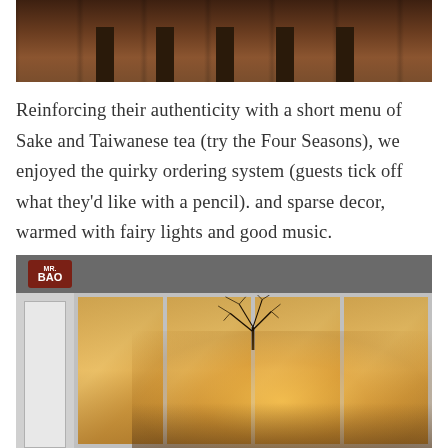[Figure (photo): Top portion of a restaurant interior photo showing bar stools and wooden decor with warm brown tones]
Reinforcing their authenticity with a short menu of Sake and Taiwanese tea (try the Four Seasons), we enjoyed the quirky ordering system (guests tick off what they'd like with a pencil). and sparse decor, warmed with fairy lights and good music.
[Figure (photo): Exterior photo of Mr. Bao restaurant storefront at night, showing large glass windows revealing a warmly lit interior with fairy lights, seating area, and a tree silhouette. The Mr. Bao logo sign is visible in the top left corner on a red background.]